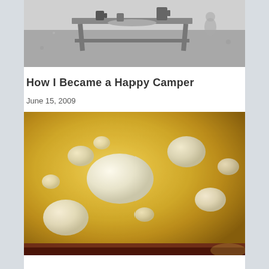[Figure (photo): Black and white photograph showing a camping scene with a picnic table, mugs, cups, and camping equipment outdoors]
How I Became a Happy Camper
June 15, 2009
[Figure (photo): Close-up color photograph of a yellow/golden soup or batter with white marshmallow-like lumps floating in it, in a dark pot or pan]